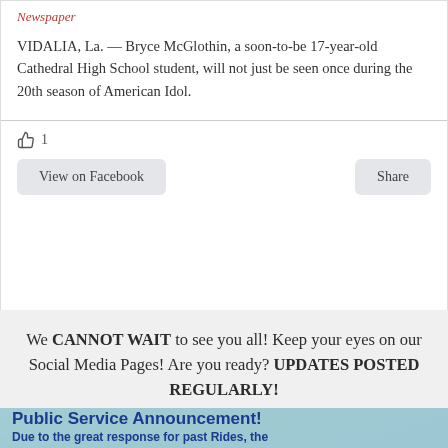Newspaper
VIDALIA, La. — Bryce McGlothin, a soon-to-be 17-year-old Cathedral High School student, will not just be seen once during the 20th season of American Idol.
👍 1
View on Facebook   Share
We CANNOT WAIT to see you all! Keep your eyes on our Social Media Pages! Are you ready? UPDATES POSTED REGULARLY!
[Figure (photo): Image with Public Service Announcement overlay on a nature background. Text reads: 'Public Service Announcement! Due to the great response for past Rides, the']